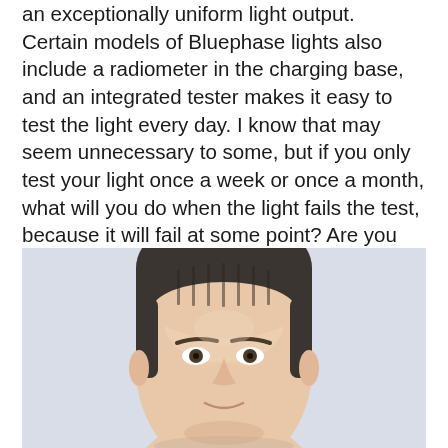an exceptionally uniform light output. Certain models of Bluephase lights also include a radiometer in the charging base, and an integrated tester makes it easy to test the light every day. I know that may seem unnecessary to some, but if you only test your light once a week or once a month, what will you do when the light fails the test, because it will fail at some point? Are you going to recall and redo all of the restorations you placed since the last successful test?
[Figure (photo): Portrait photo of a middle-aged man with short dark hair, light background, cropped at forehead/chin level]